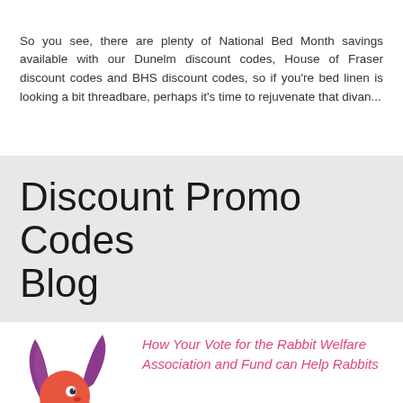So you see, there are plenty of National Bed Month savings available with our Dunelm discount codes, House of Fraser discount codes and BHS discount codes, so if you're bed linen is looking a bit threadbare, perhaps it's time to rejuvenate that divan...
Discount Promo Codes Blog
[Figure (logo): Stylized rabbit logo with purple ears and orange body]
How Your Vote for the Rabbit Welfare Association and Fund can Help Rabbits